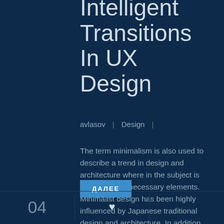Intelligent Transitions In UX Design
avlasov  |  Design  |
The term minimalism is also used to describe a trend in design and architecture where in the subject is reduced to its necessary elements. Minimalist design has been highly influenced by Japanese traditional design and architecture. In addition, the work of De Stijl artists is...
ДАЛЕЕ
04  ♥